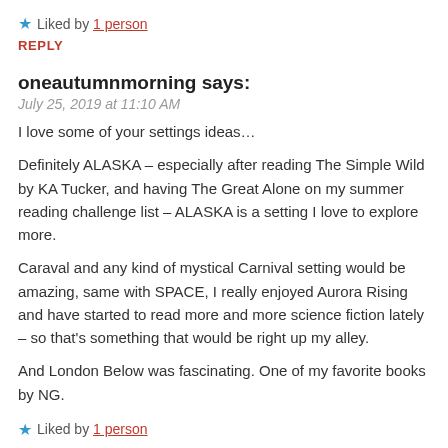★ Liked by 1 person
REPLY
oneautumnmorning says:
July 25, 2019 at 11:10 AM
I love some of your settings ideas…
Definitely ALASKA – especially after reading The Simple Wild by KA Tucker, and having The Great Alone on my summer reading challenge list – ALASKA is a setting I love to explore more.
Caraval and any kind of mystical Carnival setting would be amazing, same with SPACE, I really enjoyed Aurora Rising and have started to read more and more science fiction lately – so that's something that would be right up my alley.
And London Below was fascinating. One of my favorite books by NG.
★ Liked by 1 person